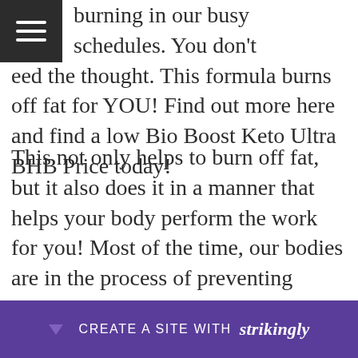burning in our busy schedules. You don't need the thought. This formula burns off fat for YOU! Find out more here and find a low Bio Boost Keto Ultra BHB Price today!
This not only helps to burn off fat, but it also does it in a manner that helps your body perform the work for you! Most of the time, our bodies are in the process of preventing weight loss by keeping storing fat. However, Bio Boost Keto Ultra BHB Advanced Weight Loss could alter this. Because [it helps to] induce [ketosis which] s
[Figure (other): Strikingly website builder promotional bar at the bottom of the screen with 'CREATE A SITE WITH strikingly' text on a purple/dark violet background]